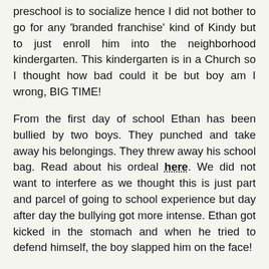preschool is to socialize hence I did not bother to go for any 'branded franchise' kind of Kindy but to just enroll him into the neighborhood kindergarten. This kindergarten is in a Church so I thought how bad could it be but boy am I wrong, BIG TIME!
From the first day of school Ethan has been bullied by two boys. They punched and take away his belongings. They threw away his school bag. Read about his ordeal here. We did not want to interfere as we thought this is just part and parcel of going to school experience but day after day the bullying got more intense. Ethan got kicked in the stomach and when he tried to defend himself, the boy slapped him on the face!
I noticed Ethan is acting kind of aggressive at home these days. Simple little things annoyed him. He tries to pick a fight with his Dad for no apparent reason at all. Then